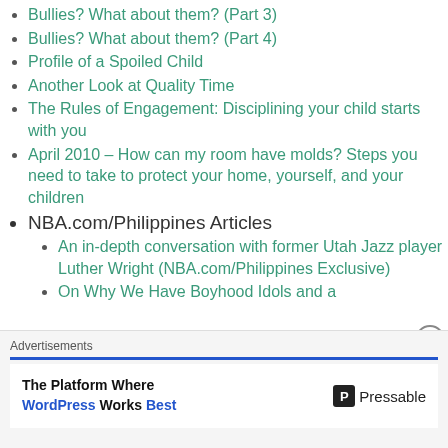Bullies? What about them? (Part 3)
Bullies? What about them? (Part 4)
Profile of a Spoiled Child
Another Look at Quality Time
The Rules of Engagement: Disciplining your child starts with you
April 2010 – How can my room have molds? Steps you need to take to protect your home, yourself, and your children
NBA.com/Philippines Articles
An in-depth conversation with former Utah Jazz player Luther Wright (NBA.com/Philippines Exclusive)
On Why We Have Boyhood Idols and a
Advertisements
The Platform Where WordPress Works Best — Pressable